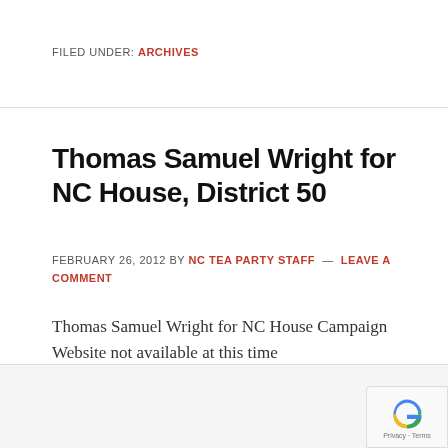FILED UNDER: ARCHIVES
Thomas Samuel Wright for NC House, District 50
FEBRUARY 26, 2012 BY NC TEA PARTY STAFF — LEAVE A COMMENT
Thomas Samuel Wright for NC House Campaign Website not available at this time
FILED UNDER: ARCHIVES